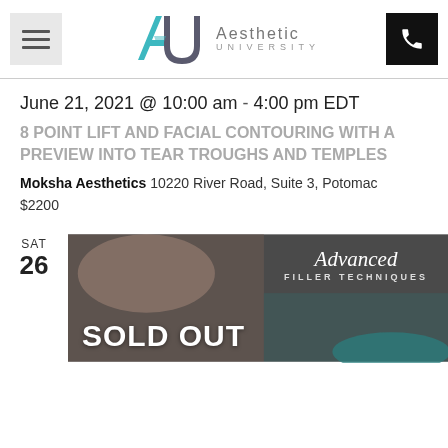[Figure (logo): Aesthetic University logo with teal and gray AU monogram and text]
June 21, 2021 @ 10:00 am - 4:00 pm EDT
8 POINT LIFT AND FACIAL CONTOURING WITH A PREVIEW INTO TEAR TROUGHS AND TEMPLES
Moksha Aesthetics 10220 River Road, Suite 3, Potomac
$2200
SAT 26
[Figure (photo): Photo of a medical aesthetic procedure, overlaid with text: Advanced Filler Techniques and SOLD OUT]